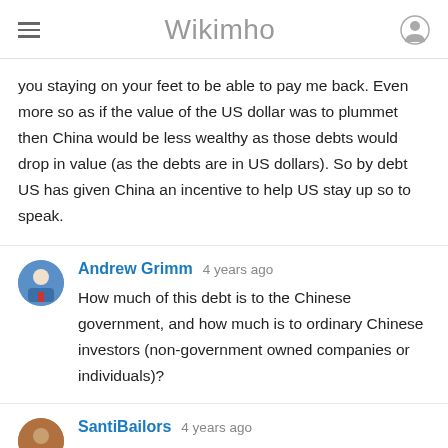Wikimho
you staying on your feet to be able to pay me back. Even more so as if the value of the US dollar was to plummet then China would be less wealthy as those debts would drop in value (as the debts are in US dollars). So by debt US has given China an incentive to help US stay up so to speak.
Andrew Grimm  4 years ago
How much of this debt is to the Chinese government, and how much is to ordinary Chinese investors (non-government owned companies or individuals)?
SantiBailors  4 years ago
@TylerDurden Why do you compare the USA debt to China with the total USA debt, instead of comparing it with the USA debt to other single countries? I'm not saying it's staggering or it's not, I have no idea and my